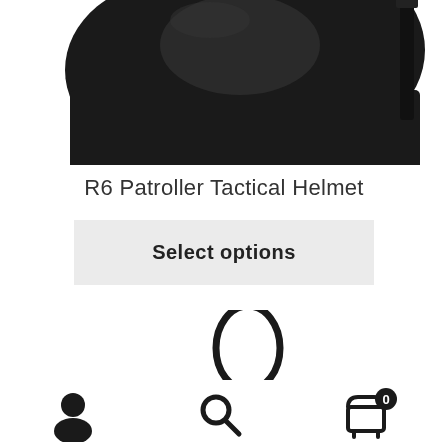[Figure (photo): Partial view of R6 Patroller Tactical Helmet in black, showing top/side portion cropped at top of page]
R6 Patroller Tactical Helmet
Select options
[Figure (photo): Partial view of a black lanyard/zipper pull product at bottom of page]
[Figure (infographic): Bottom navigation bar with user account icon, search icon, and shopping cart icon with badge showing 0]